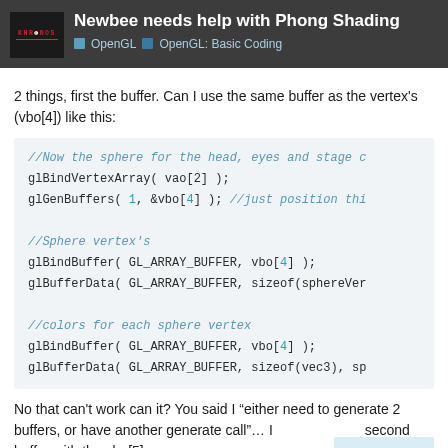Newbee needs help with Phong Shading | OpenGL | OpenGL: Basic Coding
2 things, first the buffer. Can I use the same buffer as the vertex's (vbo[4]) like this:
[Figure (screenshot): Code block showing OpenGL buffer binding calls with comments about sphere vertices and colors]
No that can't work can it? You said I "either need to generate 2 buffers, or have another generate call"... I second buffer with the vbo[5]...